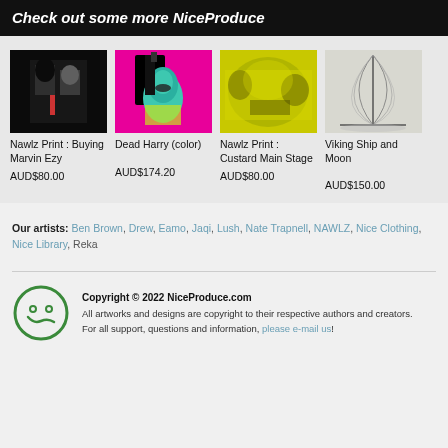Check out some more NiceProduce
[Figure (photo): Product image: Nawlz Print – Buying Marvin Ezy, black and white market scene]
Nawlz Print : Buying Marvin Ezy
AUD$80.00
[Figure (photo): Product image: Dead Harry (color), pop-art style figure on magenta background]
Dead Harry (color)
AUD$174.20
[Figure (photo): Product image: Nawlz Print – Custard Main Stage, yellow-toned scene]
Nawlz Print : Custard Main Stage
AUD$80.00
[Figure (photo): Product image: Viking Ship and Moon, line drawing on light background]
Viking Ship and Moon
AUD$150.00
Our artists: Ben Brown, Drew, Eamo, Jaqi, Lush, Nate Trapnell, NAWLZ, Nice Clothing, Nice Library, Reka
Copyright © 2022 NiceProduce.com
All artworks and designs are copyright to their respective authors and creators.
For all support, questions and information, please e-mail us!
[Figure (logo): NiceProduce logo: green circle with smiley face]